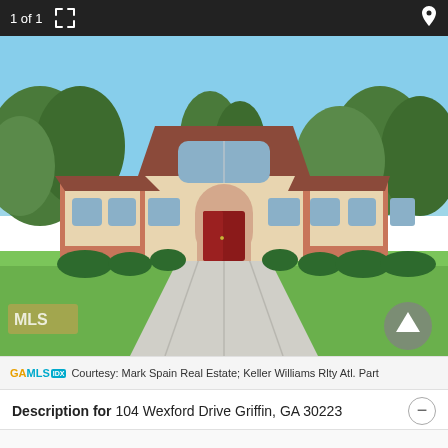1 of 1
[Figure (photo): Exterior photo of a large brick residential house with arched entryway, red double doors, multiple windows, manicured bushes, and a wide concrete driveway with green lawn in front. Blue sky and trees in background.]
GAMLS IDX Courtesy: Mark Spain Real Estate; Keller Williams Rlty Atl. Part
Description for 104 Wexford Drive Griffin, GA 30223